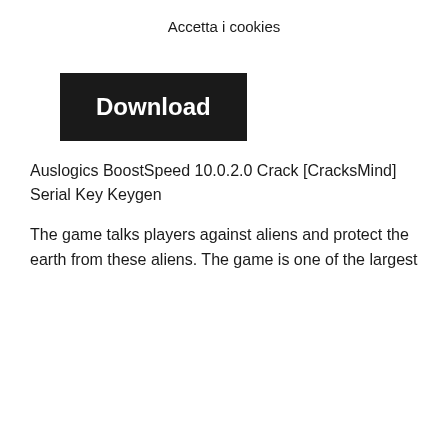Accetta i cookies
[Figure (other): Black Download button with white bold text]
Auslogics BoostSpeed 10.0.2.0 Crack [CracksMind] Serial Key Keygen
The game talks players against aliens and protect the earth from these aliens. The game is one of the largest